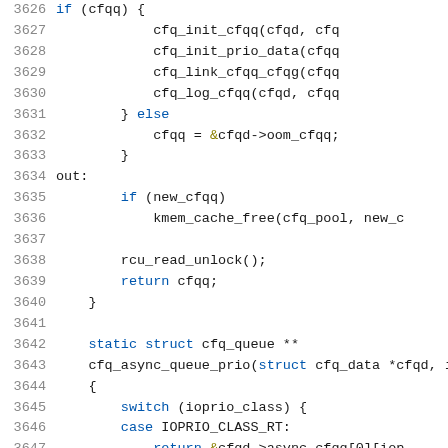[Figure (screenshot): Source code listing showing C code lines 3626-3647, with syntax highlighting. Line numbers in gray on left, keywords in blue, references in olive/yellow, identifiers in black/dark.]